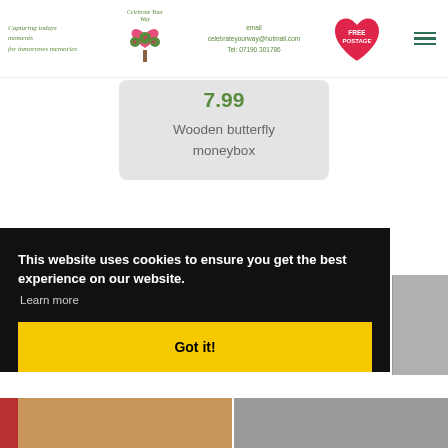Capturing todays moments for tomorrows memories | celebrateyourway@hotmail.com | Tel: 07190 301786 | FREE POSTAGE
7.99
Wooden butterfly moneybox
This website uses cookies to ensure you get the best experience on our website. Learn more
Got it!